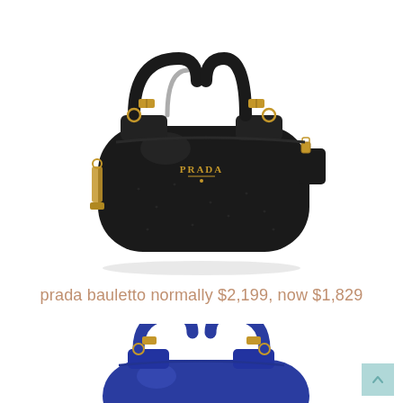[Figure (photo): Black Prada bauletto leather handbag with gold hardware, two top handles with buckles, and a luggage tag, photographed on a white background.]
prada bauletto normally $2,199, now $1,829
[Figure (photo): Blue Prada bauletto leather handbag with gold hardware and two top handles, partially visible, photographed on a white background.]